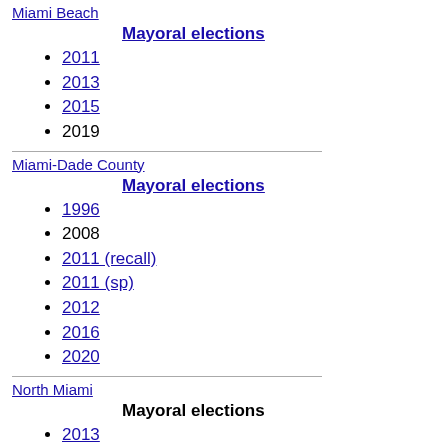Miami Beach
Mayoral elections
2011
2013
2015
2019
Miami-Dade County
Mayoral elections
1996
2008
2011 (recall)
2011 (sp)
2012
2016
2020
North Miami
Mayoral elections
2013
2014 (sp)
2017
2021